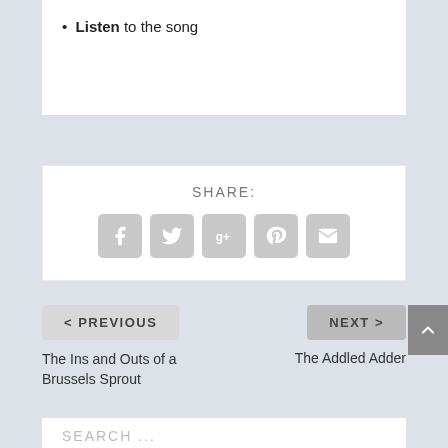Listen to the song
SHARE:
[Figure (infographic): Row of five social sharing icon buttons: Facebook (f), Twitter (bird), Google+ (g+), Pinterest (p), Email (envelope), all in gray rounded squares]
< PREVIOUS
NEXT >
The Ins and Outs of a Brussels Sprout
The Addled Adder
SEARCH ...